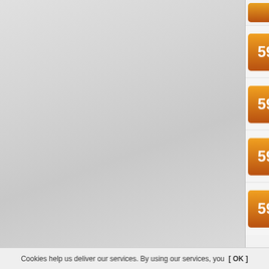59 Amen (Punk, Alternative R...)
59 Bare Egil Band (Alternati...)
59 John Porter (Alternative R...)
59 Jill Sobule (Alternative Ro...)
59 Life In Your Way (Hardco...)
59 Schroeder Roadshow (A...)
59 Henry Rollins (Punk, Har...)
59 Massacre (Punk, Hardcor...)
59 Corinne Allal (Alternative...)
58 Jingo De Lunch (Alternat...)
Cookies help us deliver our services. By using our services, you  [ OK ]